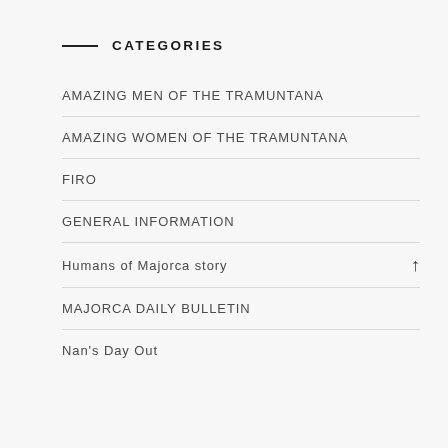CATEGORIES
AMAZING MEN OF THE TRAMUNTANA
AMAZING WOMEN OF THE TRAMUNTANA
FIRO
GENERAL INFORMATION
Humans of Majorca story
MAJORCA DAILY BULLETIN
Nan's Day Out